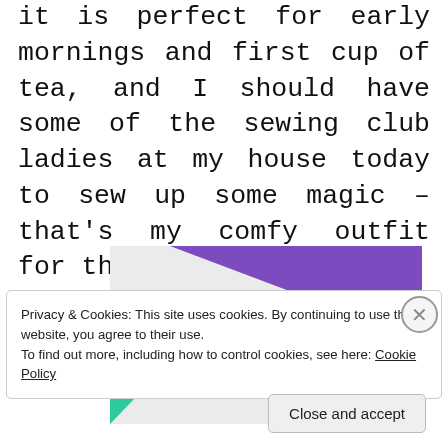it is perfect for early mornings and first cup of tea, and I should have some of the sewing club ladies at my house today to sew up some magic – that's my comfy outfit for that!
[Figure (infographic): Advertisement banner with purple triangle top, green triangle left, blue curved shape bottom-right on light grey background. Bold text reads 'How to start selling subscriptions online']
Privacy & Cookies: This site uses cookies. By continuing to use this website, you agree to their use.
To find out more, including how to control cookies, see here: Cookie Policy
Close and accept